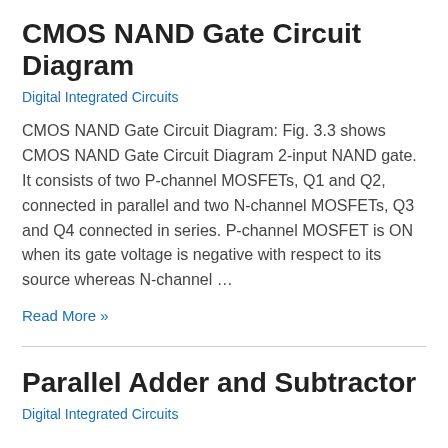CMOS NAND Gate Circuit Diagram
Digital Integrated Circuits
CMOS NAND Gate Circuit Diagram: Fig. 3.3 shows CMOS NAND Gate Circuit Diagram 2-input NAND gate. It consists of two P-channel MOSFETs, Q1 and Q2, connected in parallel and two N-channel MOSFETs, Q3 and Q4 connected in series. P-channel MOSFET is ON when its gate voltage is negative with respect to its source whereas N-channel …
Read More »
Parallel Adder and Subtractor
Digital Integrated Circuits